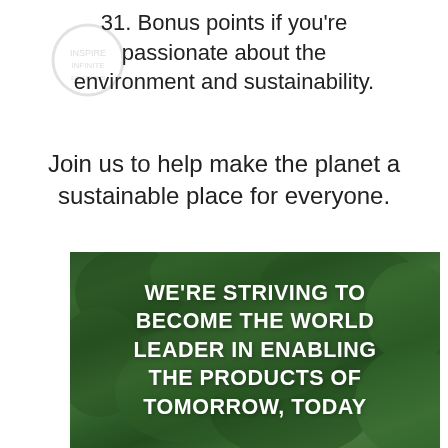31. Bonus points if you're passionate about the environment and sustainability.
Join us to help make the planet a sustainable place for everyone.
[Figure (photo): Aerial photo of a dense green forest with overlaid white bold text reading: WE'RE STRIVING TO BECOME THE WORLD LEADER IN ENABLING THE PRODUCTS OF TOMORROW, TODAY]